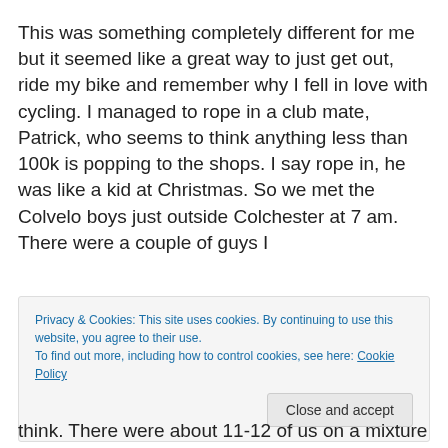This was something completely different for me but it seemed like a great way to just get out, ride my bike and remember why I fell in love with cycling. I managed to rope in a club mate, Patrick, who seems to think anything less than 100k is popping to the shops. I say rope in, he was like a kid at Christmas. So we met the Colvelo boys just outside Colchester at 7 am. There were a couple of guys I
Privacy & Cookies: This site uses cookies. By continuing to use this website, you agree to their use.
To find out more, including how to control cookies, see here: Cookie Policy
think. There were about 11-12 of us on a mixture of typical